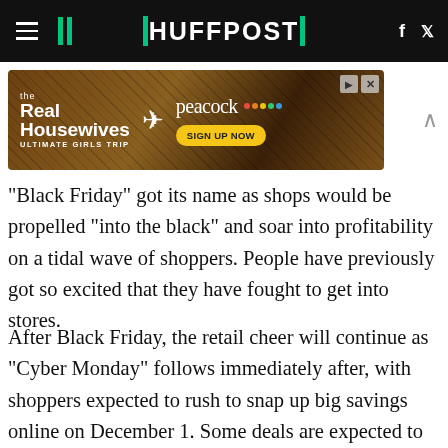HUFFPOST
[Figure (illustration): Advertisement banner for The Real Housewives Ultimate Girls Trip on Peacock, with Sign Up Now button]
"Black Friday" got its name as shops would be propelled "into the black" and soar into profitability on a tidal wave of shoppers. People have previously got so excited that they have fought to get into stores.
After Black Friday, the retail cheer will continue as "Cyber Monday" follows immediately after, with shoppers expected to rush to snap up big savings online on December 1. Some deals are expected to go live in the run-up to Black Friday at midnight on November 24th, with other shops planning to open their doors from as early as